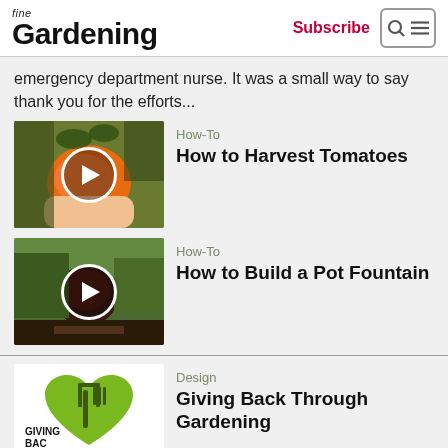fine Gardening | Subscribe
emergency department nurse. It was a small way to say thank you for the efforts...
[Figure (screenshot): Video thumbnail showing hand holding orange tomato with play button overlay]
How-To
How to Harvest Tomatoes
[Figure (screenshot): Video thumbnail showing garden with dark round object and play button overlay]
How-To
How to Build a Pot Fountain
[Figure (logo): Giving Back Through Gardening logo with green heart and garden tools]
Design
Giving Back Through Gardening